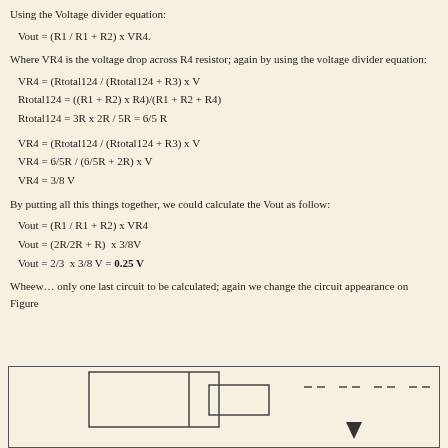Using the Voltage divider equation:
Where VR4 is the voltage drop across R4 resistor; again by using the voltage divider equation:
By putting all this things together, we could calculate the Vout as follow:
Wheew… only one last circuit to be calculated; again we change the circuit appearance on Figure
[Figure (circuit-diagram): Partial circuit diagram showing rectangular circuit elements and dashed lines with an arrow, at the bottom of the page.]